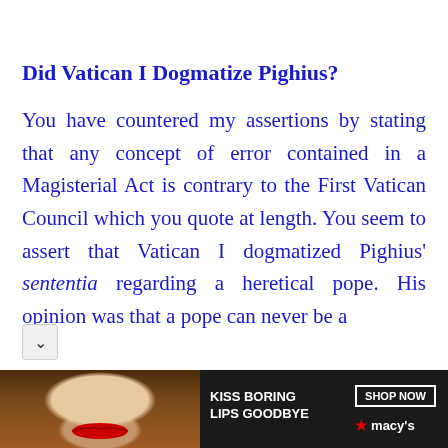Did Vatican I Dogmatize Pighius?
You have countered my assertions by stating that any concept of error contained in a Magisterial Act is contrary to the First Vatican Council which you quote at length. You seem to assert that Vatican I dogmatized Pighius’ sententia regarding a heretical pope. His opinion was that a pope can never be a
[Figure (photo): Advertisement banner for Macy's lip products showing a woman's face with red lips. Text reads 'KISS BORING LIPS GOODBYE' with 'SHOP NOW' button and Macy's star logo.]